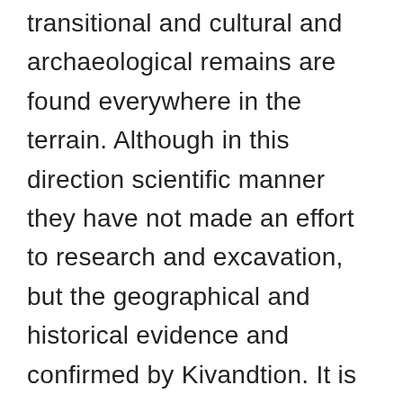transitional and cultural and archaeological remains are found everywhere in the terrain. Although in this direction scientific manner they have not made an effort to research and excavation, but the geographical and historical evidence and confirmed by Kivandtion. It is said that Maharaj Tretayug was Tpobhumi of saints at this location Dasaratha's reign. Similar lacerated wound etc. poet ashore Maharishi ashram of Valmiki. It is undeniable that one visit to the first night on Tamsa coast Sri Ramachandra G had rested. Mau known archival history is about 1500 years old, when the whole area was thick dense forest. Nearby flowing river